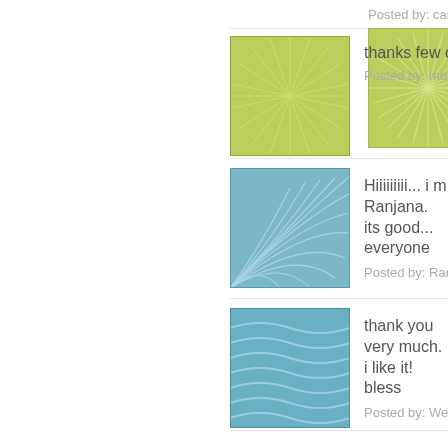Posted by: candice | 19/11/2015 at...
[Figure (illustration): Green sunburst pattern avatar icon]
thanks few of the ice breakers...
Posted by: monika | 17/06/2015 at...
[Figure (illustration): Blue fan/wing pattern avatar icon]
Hiiiiiiiii... i m Ranjana. its good... everyone
Posted by: Ranjana | 13/06/2015 at...
[Figure (illustration): Blue water wave pattern avatar icon]
thank you very much. i like it! ... bless
Posted by: Well Rio | 19/05/2015 at...
[Figure (illustration): Green cellular/voronoi pattern avatar icon]
thank you for the amazing ga... after week
Posted by: Trevor Naicker | 15/05/2...
[Figure (illustration): Green starburst/dandelion pattern avatar icon]
thank you so much for these ic... take over our youth group as...